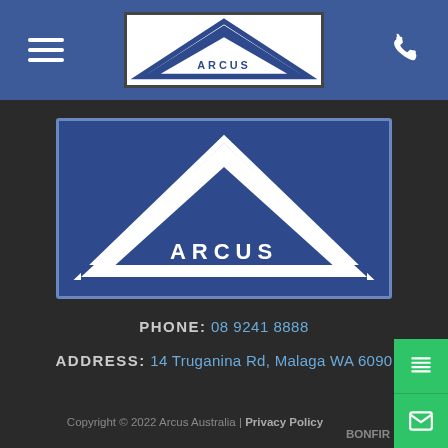ARCUS logo header with navigation menu icon and phone icon
[Figure (logo): ARCUS company logo — white triangle/arch shape on dark blue background with text ARCUS]
PHONE: 08 9241 8888
ADDRESS: 14 Truganina Rd, Malaga WA 6090
Copyright © 2022 Arcus Australia | Privacy Policy BONFIR